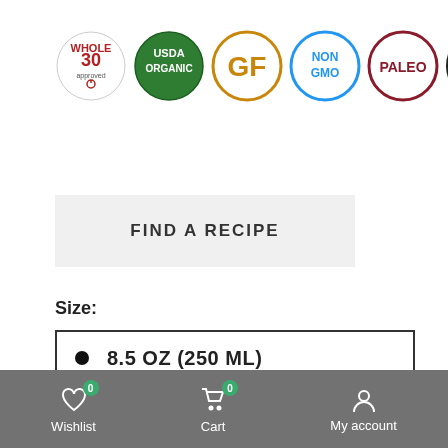[Figure (logo): Row of certification badges: Whole30 Approved, USDA Organic, GF (Gluten Free), Non GMO, Paleo, CK Certified Ketogenic #0013]
FIND A RECIPE
Size:
8.5 OZ (250 ML)
1.5 OZ - 6 PACK
$15.83
Wishlist  Cart  My account